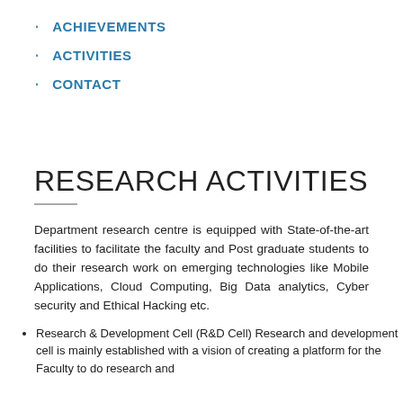ACHIEVEMENTS
ACTIVITIES
CONTACT
RESEARCH ACTIVITIES
Department research centre is equipped with State-of-the-art facilities to facilitate the faculty and Post graduate students to do their research work on emerging technologies like Mobile Applications, Cloud Computing, Big Data analytics, Cyber security and Ethical Hacking etc.
Research & Development Cell (R&D Cell) Research and development cell is mainly established with a vision of creating a platform for the Faculty to do research and